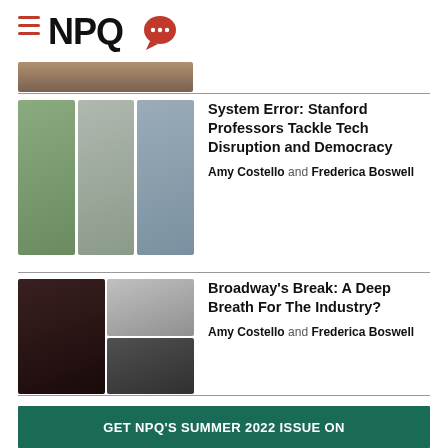[Figure (logo): NPQ logo with hamburger menu icon, NPQ text and red speech bubble with ellipsis]
[Figure (photo): Partial top photo strip of a person]
[Figure (photo): Three headshots of Stanford professors side by side]
System Error: Stanford Professors Tackle Tech Disruption and Democracy
Amy Costello and Frederica Boswell
[Figure (photo): Three headshots related to Broadway article - one large on left, two stacked on right]
Broadway's Break: A Deep Breath For The Industry?
Amy Costello and Frederica Boswell
GET NPQ'S SUMMER 2022 ISSUE ON